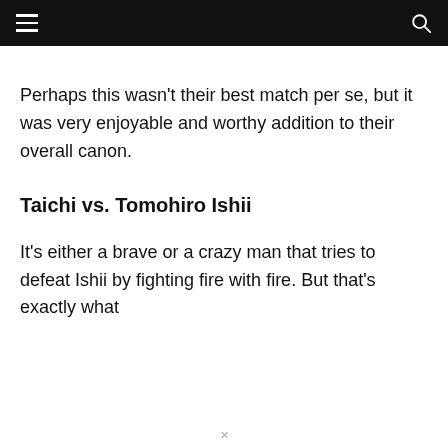Perhaps this wasn't their best match per se, but it was very enjoyable and worthy addition to their overall canon.
Taichi vs. Tomohiro Ishii
It's either a brave or a crazy man that tries to defeat Ishii by fighting fire with fire. But that's exactly what